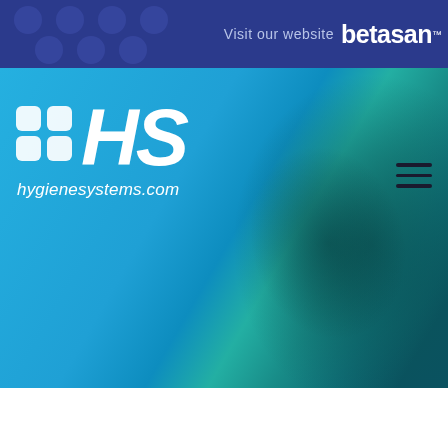Visit our website betasan™
[Figure (logo): HS Hygiene Systems logo with dot-grid icon and text 'hygienesystems.com' on blue background with hamburger menu icon]